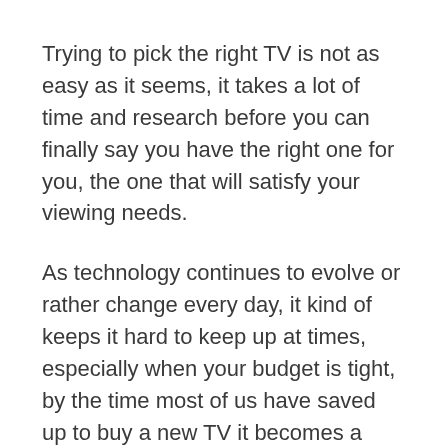Trying to pick the right TV is not as easy as it seems, it takes a lot of time and research before you can finally say you have the right one for you, the one that will satisfy your viewing needs.
As technology continues to evolve or rather change every day, it kind of keeps it hard to keep up at times, especially when your budget is tight, by the time most of us have saved up to buy a new TV it becomes a daunting task because new manufacturers also enter into the market hence giving you